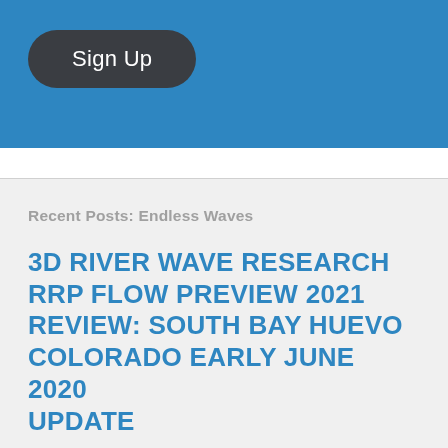[Figure (screenshot): Blue banner section with a dark rounded 'Sign Up' button on blue background]
Recent Posts: Endless Waves
3D RIVER WAVE RESEARCH
RRP FLOW PREVIEW 2021
REVIEW: SOUTH BAY HUEVO
COLORADO EARLY JUNE 2020 UPDATE
COVID 19 AND THE